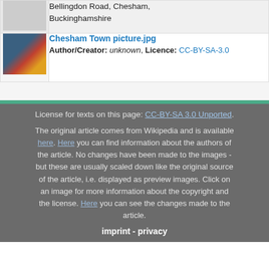| [image] | Bellingdon Road, Chesham, Buckinghamshire |
| [image] | Chesham Town picture.jpg
Author/Creator: unknown, Licence: CC-BY-SA-3.0 |
License for texts on this page: CC-BY-SA 3.0 Unported.
The original article comes from Wikipedia and is available here. Here you can find information about the authors of the article. No changes have been made to the images - but these are usually scaled down like the original source of the article, i.e. displayed as preview images. Click on an image for more information about the copyright and the license. Here you can see the changes made to the article.
imprint  -  privacy